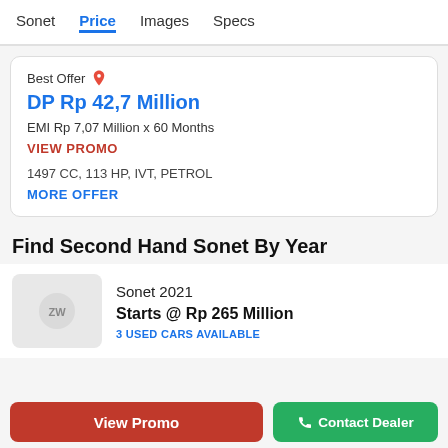Sonet  Price  Images  Specs
Best Offer
DP Rp 42,7 Million
EMI Rp 7,07 Million x 60 Months
VIEW PROMO
1497 CC, 113 HP, IVT, PETROL
MORE OFFER
Find Second Hand Sonet By Year
Sonet 2021
Starts @ Rp 265 Million
3 USED CARS AVAILABLE
View Promo
Contact Dealer